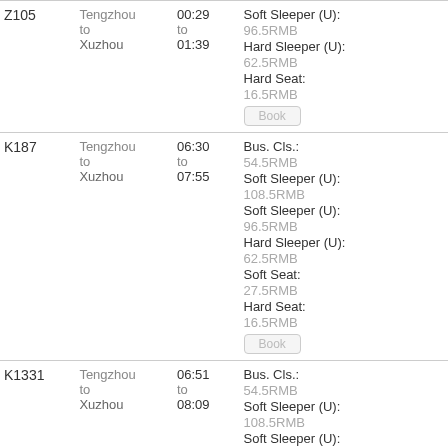| Train | Route | Time | Fare / Class |
| --- | --- | --- | --- |
| Z105 | Tengzhou
to
Xuzhou | 00:29
to
01:39 | Soft Sleeper (U):
96.5RMB
Hard Sleeper (U):
62.5RMB
Hard Seat:
16.5RMB
[Book] |
| K187 | Tengzhou
to
Xuzhou | 06:30
to
07:55 | Bus. Cls.:
54.5RMB
Soft Sleeper (U):
108.5RMB
Soft Sleeper (U):
96.5RMB
Hard Sleeper (U):
62.5RMB
Soft Seat:
27.5RMB
Hard Seat:
16.5RMB
[Book] |
| K1331 | Tengzhou
to
Xuzhou | 06:51
to
08:09 | Bus. Cls.:
54.5RMB
Soft Sleeper (U):
108.5RMB
Soft Sleeper (U): |